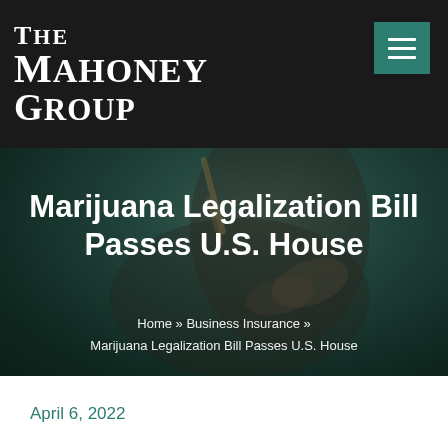The Mahoney Group
[Figure (photo): Dark hero background image showing a person's hand holding a marijuana cigarette/joint, with teal/dark overlay tint]
Marijuana Legalization Bill Passes U.S. House
Home » Business Insurance » Marijuana Legalization Bill Passes U.S. House
April 6, 2022